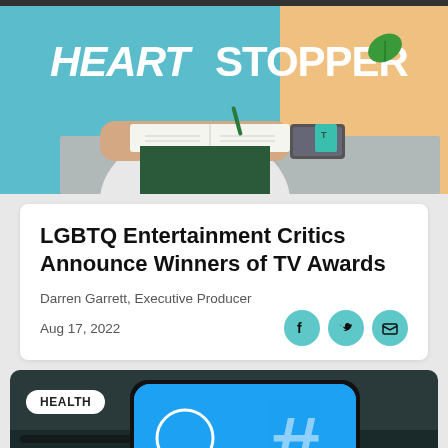[Figure (photo): Heartstopper promotional image showing person at desk with open book, 'Heartstopper' text and leaf logo visible in background]
LGBTQ Entertainment Critics Announce Winners of TV Awards
Darren Garrett, Executive Producer
Aug 17, 2022
[Figure (photo): Health section: smartphone displaying Twitter app with blue hashtag background, HEALTH badge overlay]